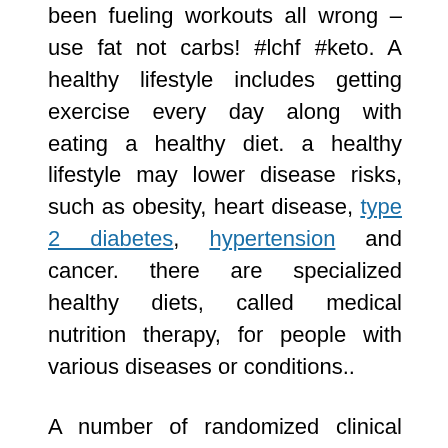been fueling workouts all wrong – use fat not carbs! #lchf #keto. A healthy lifestyle includes getting exercise every day along with eating a healthy diet. a healthy lifestyle may lower disease risks, such as obesity, heart disease, type 2 diabetes, hypertension and cancer. there are specialized healthy diets, called medical nutrition therapy, for people with various diseases or conditions..
A number of randomized clinical trials have compared the paleo diet to other eating plans, such as the mediterranean diet or the diabetes diet. overall, these trials suggest that a paleo diet may provide some benefits when compared with diets of fruits, vegetables, lean meats, whole grains, legumes and low-fat dairy products.. Levels fell by 35 mg/dl (0.4 mmol/l) on the paleo diet, compared with the diabetes diet. conclusion. the paleo diet caused more weight loss and improvements in several cardiovascular risk factors. Over the past five years, more and more people worldwide have become aware of the paleo diet, which really is not a diet at